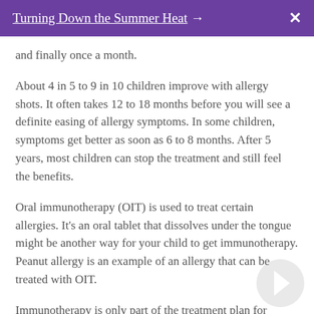Turning Down the Summer Heat → ✕
and finally once a month.
About 4 in 5 to 9 in 10 children improve with allergy shots. It often takes 12 to 18 months before you will see a definite easing of allergy symptoms. In some children, symptoms get better as soon as 6 to 8 months. After 5 years, most children can stop the treatment and still feel the benefits.
Oral immunotherapy (OIT) is used to treat certain allergies. It's an oral tablet that dissolves under the tongue might be another way for your child to get immunotherapy. Peanut allergy is an example of an allergy that can be treated with OIT.
Immunotherapy is only part of the treatment plan for allergic children. It takes time for this treatment to work.